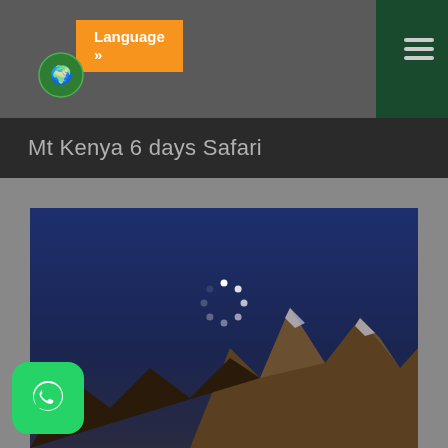Language »
Mt Kenya 6 days Safari
[Figure (photo): Mt Kenya mountain peaks at night/dusk with dark blue sky, rocky snow-capped peaks visible at bottom, with a loading spinner overlay in the center of the image.]
[Figure (logo): WhatsApp logo button in green rounded square at bottom left corner]